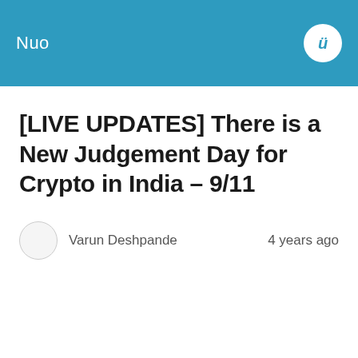Nuo
[LIVE UPDATES] There is a New Judgement Day for Crypto in India – 9/11
Varun Deshpande   4 years ago